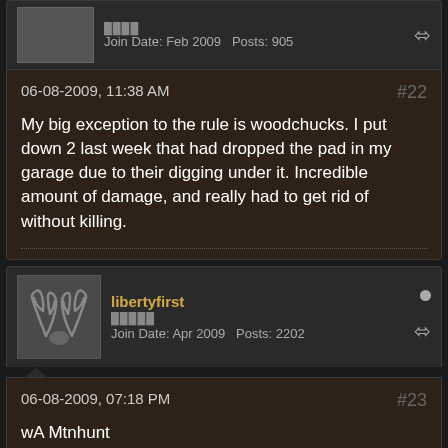Join Date: Feb 2009   Posts: 905
06-08-2009, 11:38 AM   #22
My big exception to the rule is woodchucks. I put down 2 last week that had dropped the pad in my garage due to their digging under it. Incredible amount of damage, and really had to get rid of without killing.
libertyfirst
Join Date: Apr 2009   Posts: 2202
06-08-2009, 07:18 PM   #23
wA Mtnhunt
I know what your talking about. There is always